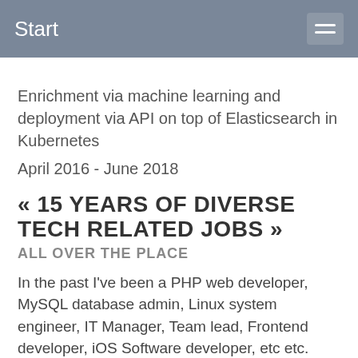Start
Enrichment via machine learning and deployment via API on top of Elasticsearch in Kubernetes
April 2016 - June 2018
« 15 YEARS OF DIVERSE TECH RELATED JOBS »
ALL OVER THE PLACE
In the past I've been a PHP web developer, MySQL database admin, Linux system engineer, IT Manager, Team lead, Frontend developer, iOS Software developer, etc etc. Less relevant to the tools I'm using now, but it does make me an experienced well rounded developer.